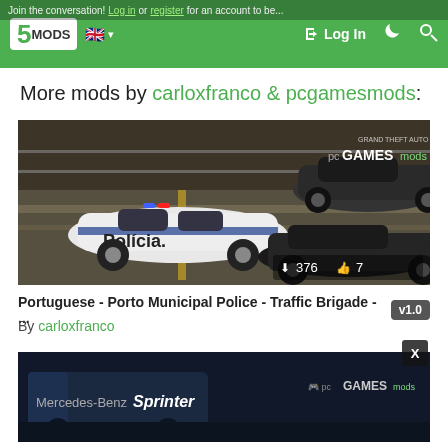Join the conversation! Log in or register for an account to be...
5MODS — Log In
More mods by carloxfranco & pcgamesmods:
[Figure (screenshot): GTA V screenshot showing a white Nissan Leaf police car labeled 'Polícia' alongside other vehicles on a road. Shows download count 376 and likes 7. pcGAMESmods watermark visible.]
Portuguese - Porto Municipal Police - Traffic Brigade - ... v1.0
By carloxfranco
[Figure (screenshot): GTA V screenshot showing Mercedes-Benz Sprinter with pcGAMESmods watermark on dark background.]